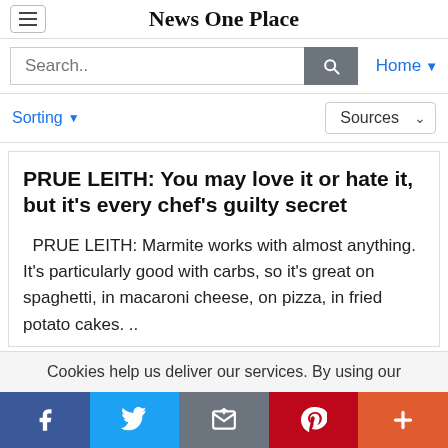News One Place
Search..
Home
Sorting
Sources
PRUE LEITH: You may love it or hate it, but it's every chef's guilty secret
PRUE LEITH: Marmite works with almost anything. It's particularly good with carbs, so it's great on spaghetti, in macaroni cheese, on pizza, in fried potato cakes. ..
Cookies help us deliver our services. By using our